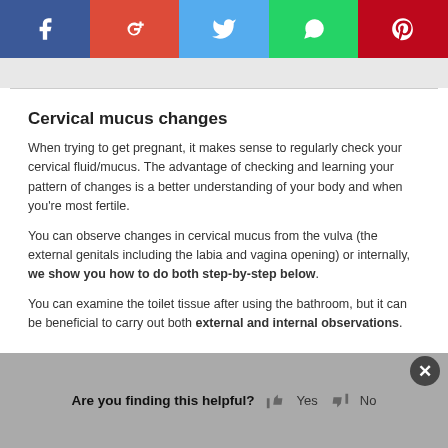[Figure (other): Social media share buttons bar: Facebook (blue), Google+ (red), Twitter (light blue), WhatsApp (green), Pinterest (dark red)]
Cervical mucus changes
When trying to get pregnant, it makes sense to regularly check your cervical fluid/mucus. The advantage of checking and learning your pattern of changes is a better understanding of your body and when you're most fertile.
You can observe changes in cervical mucus from the vulva (the external genitals including the labia and vagina opening) or internally, we show you how to do both step-by-step below.
You can examine the toilet tissue after using the bathroom, but it can be beneficial to carry out both external and internal observations.
Are you finding this helpful? Yes  No